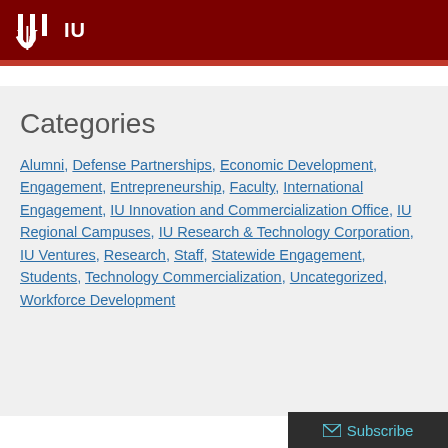IU
Categories
Alumni, Defense Partnerships, Economic Development, Engagement, Entrepreneurship, Faculty, International Engagement, IU Innovation and Commercialization Office, IU Regional Campuses, IU Research & Technology Corporation, IU Ventures, Research, Staff, Statewide Engagement, Students, Technology Commercialization, Uncategorized, Workforce Development